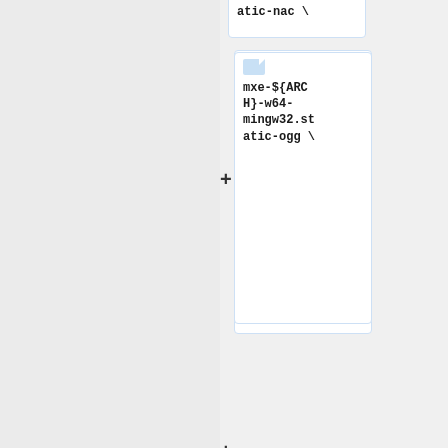atic-nac \
mxe-${ARCH}-w64-mingw32.static-ogg \
mxe-${ARCH}-w64-mingw32.static-vorbis \
mxe-${ARCH}-w64-mingw32.static-libsndfile
To clone the repositories
== Preparing